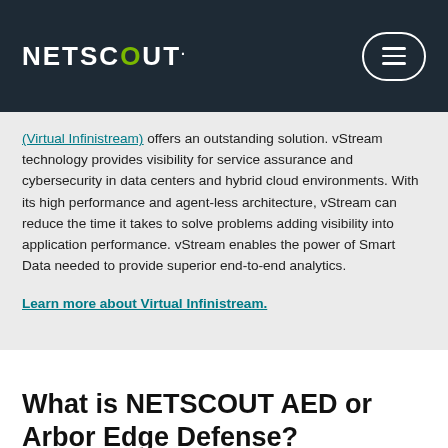NETSCOUT
(Virtual Infinistream) offers an outstanding solution. vStream technology provides visibility for service assurance and cybersecurity in data centers and hybrid cloud environments. With its high performance and agent-less architecture, vStream can reduce the time it takes to solve problems adding visibility into application performance. vStream enables the power of Smart Data needed to provide superior end-to-end analytics.
Learn more about Virtual Infinistream.
What is NETSCOUT AED or Arbor Edge Defense?